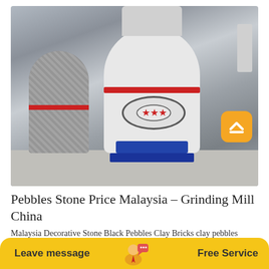[Figure (photo): Industrial grinding mill machine in factory setting. A large white cylindrical Raymond grinding mill with red band and star emblem on blue base stands in center. A wrapped machine is on the left. Orange scroll-to-top button overlay on right.]
Pebbles Stone Price Malaysia – Grinding Mill China
Malaysia Decorative Stone Black Pebbles Clay Bricks clay pebbles
Leave message
Free Service